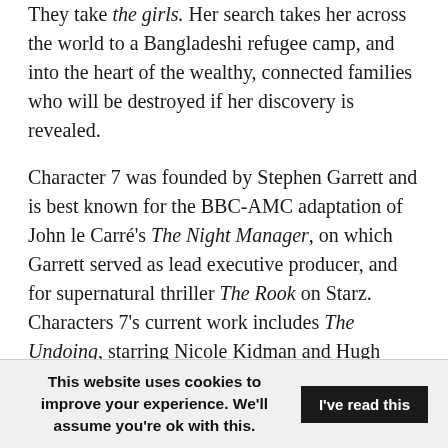They take the girls. Her search takes her across the world to a Bangladeshi refugee camp, and into the heart of the wealthy, connected families who will be destroyed if her discovery is revealed.
Character 7 was founded by Stephen Garrett and is best known for the BBC-AMC adaptation of John le Carré's The Night Manager, on which Garrett served as lead executive producer, and for supernatural thriller The Rook on Starz. Characters 7's current work includes The Undoing, starring Nicole Kidman and Hugh Grant, written by
This website uses cookies to improve your experience. We'll assume you're ok with this. I've read this